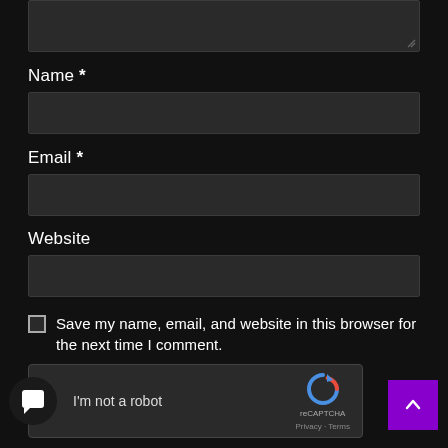[Figure (screenshot): Dark-themed web form textarea (top portion clipped), partially visible at top of page]
Name *
[Figure (screenshot): Name input text field, dark background]
Email *
[Figure (screenshot): Email input text field, dark background]
Website
[Figure (screenshot): Website input text field, dark background]
Save my name, email, and website in this browser for the next time I comment.
[Figure (screenshot): reCAPTCHA widget with checkbox and 'I'm not a robot' text, reCAPTCHA logo, Privacy and Terms links]
[Figure (screenshot): Purple scroll-to-top button with upward chevron arrow in bottom right corner]